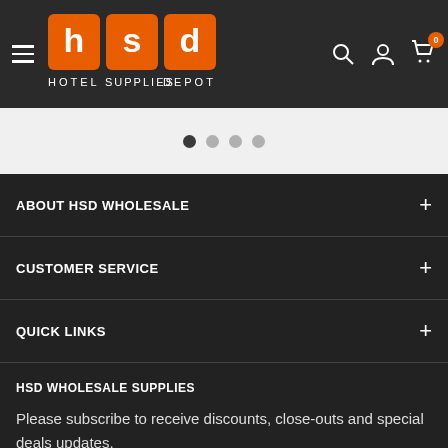[Figure (logo): HSD Hotel Supplies Depot logo — orange squares with white letters h, s, d and text HOTEL SUPPLIES DEPOT below]
[Figure (other): Carousel pagination dots — one filled dark, three light gray]
ABOUT HSD WHOLESALE
CUSTOMER SERVICE
QUICK LINKS
HSD WHOLESALE SUPPLIES
Please subscribe to receive discounts, close-outs and special deals updates.